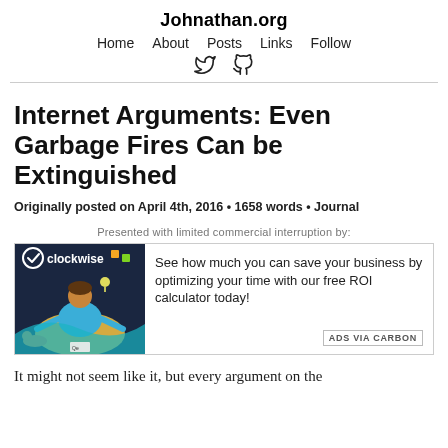Johnathan.org
Home   About   Posts   Links   Follow
Internet Arguments: Even Garbage Fires Can be Extinguished
Originally posted on April 4th, 2016 • 1658 words • Journal
Presented with limited commercial interruption by:
[Figure (infographic): Clockwise ad showing a logo with a checkmark circle and the word clockwise, with an illustration of a person with colorful elements]
See how much you can save your business by optimizing your time with our free ROI calculator today!
ADS VIA CARBON
It might not seem like it, but every argument on the